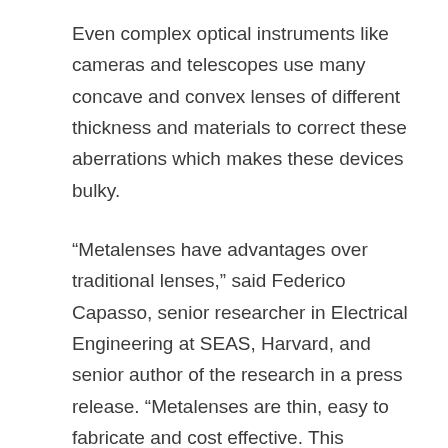Even complex optical instruments like cameras and telescopes use many concave and convex lenses of different thickness and materials to correct these aberrations which makes these devices bulky.
“Metalenses have advantages over traditional lenses,” said Federico Capasso, senior researcher in Electrical Engineering at SEAS, Harvard, and senior author of the research in a press release. “Metalenses are thin, easy to fabricate and cost effective. This breakthrough extends those advantages across the whole visible range of light. This is the next big step.”